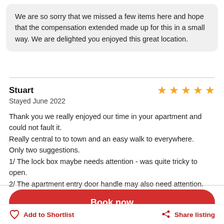We are so sorry that we missed a few items here and hope that the compensation extended made up for this in a small way. We are delighted you enjoyed this great location.
Stuart — Stayed June 2022 — 5 stars
Thank you we really enjoyed our time in your apartment and could not fault it.
Really central to to town and an easy walk to everywhere.
Only two suggestions.
1/ The lock box maybe needs attention - was quite tricky to open.
2/ The apartment entry door handle may also need attention.
Book now
Add to Shortlist
Share listing